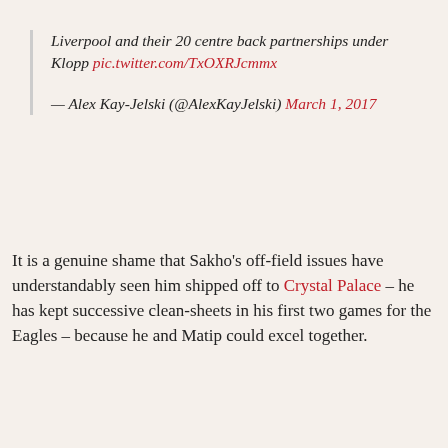Liverpool and their 20 centre back partnerships under Klopp pic.twitter.com/TxOXRJcmmx
— Alex Kay-Jelski (@AlexKayJelski) March 1, 2017
It is a genuine shame that Sakho's off-field issues have understandably seen him shipped off to Crystal Palace – he has kept successive clean-sheets in his first two games for the Eagles – because he and Matip could excel together.